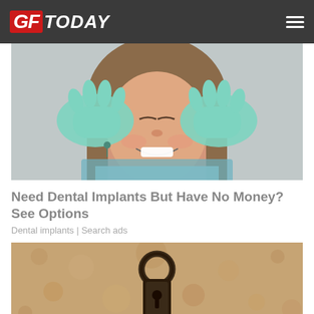GF Today
[Figure (photo): A smiling woman in a dental chair wearing a bib, with a dentist in teal/mint gloves holding her face gently. Dental equipment visible in background.]
Need Dental Implants But Have No Money? See Options
Dental implants | Search ads
[Figure (photo): A rustic metal door knocker or lock hardware on a sandy/beige textured stucco wall. Dark brown metalwork visible.]